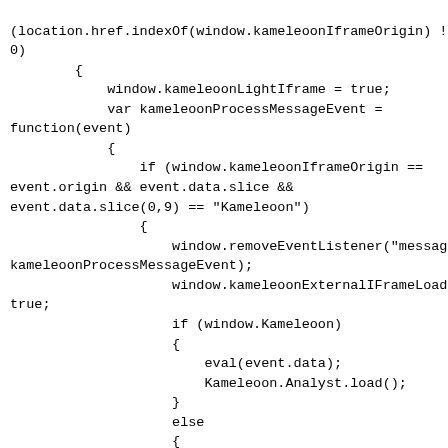(location.href.indexOf(window.kameleoonIframeOrigin) != 0)
        {
            window.kameleoonLightIframe = true;
            var kameleoonProcessMessageEvent =
function(event)
            {
                if (window.kameleoonIframeOrigin ==
event.origin && event.data.slice &&
event.data.slice(0,9) == "Kameleoon")
                {
                    window.removeEventListener("message",
kameleoonProcessMessageEvent);
                    window.kameleoonExternalIFrameLoaded =
true;
                    if (window.Kameleoon)
                    {
                        eval(event.data);
                        Kameleoon.Analyst.load();
                    }
                    else
                    {

window.kameleoonExternalIFrameLoadedData = event.data;
                    }
                }
            };
            if (window.addEventListener)
            {
                window.addEventListener("message",